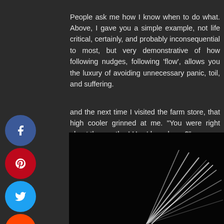People ask me how I know when to do what. Above, I gave you a simple example, not life critical, certainly, and probably inconsequential to most, but very demonstrative of how following nudges, following ‘flow’, allows you the luxury of avoiding unnecessary panic, toil, and suffering.
and the next time I visited the farm store, that high cooler grinned at me. “You were right about the weather! How’d you know?”
gave him the easy answer, one that doesn’t give people es: “A little bird told me.”
[Figure (photo): Dark photo of bird feathers or wings with light streaks against a black background]